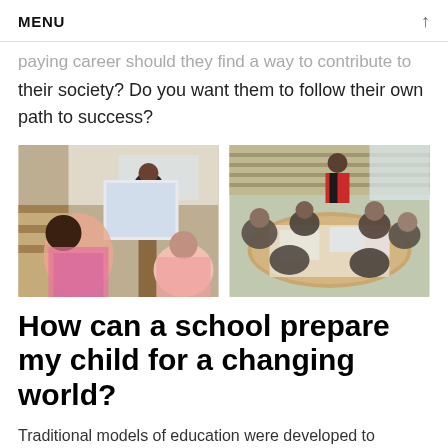MENU
paying career should they find a way to contribute to their society? Do you want them to follow their own path to success?
[Figure (photo): Two classroom photos side by side: left shows students looking at a large drawing/poster being held up; right shows a group of students gathered around a round table working on papers in a library/classroom setting.]
How can a school prepare my child for a changing world?
Traditional models of education were developed to prepare people for a workforce of the past. The way